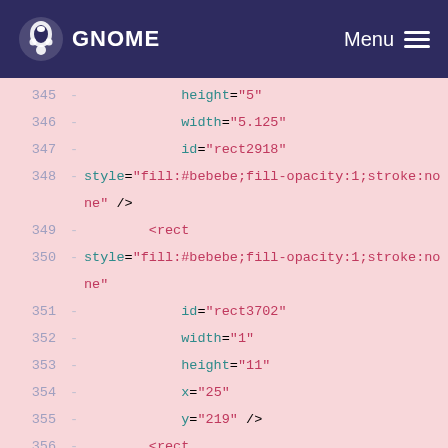GNOME — Menu
Code diff showing SVG XML lines 345–361 with attributes height, width, id, style, rect, transform